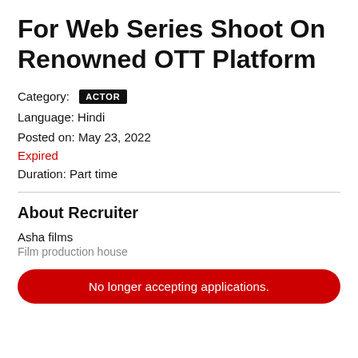For Web Series Shoot On Renowned OTT Platform
Category: ACTOR
Language: Hindi
Posted on: May 23, 2022
Expired
Duration: Part time
About Recruiter
Asha films
Film production house
No longer accepting applications.